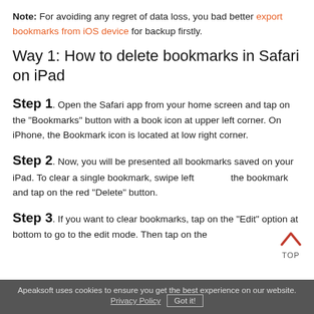Note: For avoiding any regret of data loss, you bad better export bookmarks from iOS device for backup firstly.
Way 1: How to delete bookmarks in Safari on iPad
Step 1. Open the Safari app from your home screen and tap on the "Bookmarks" button with a book icon at upper left corner. On iPhone, the Bookmark icon is located at low right corner.
Step 2. Now, you will be presented all bookmarks saved on your iPad. To clear a single bookmark, swipe left over the bookmark and tap on the red "Delete" button.
Step 3. If you want to clear bookmarks, tap on the "Edit" option at bottom to go to the edit mode. Then tap on the
Apeaksoft uses cookies to ensure you get the best experience on our website. Privacy Policy Got it!